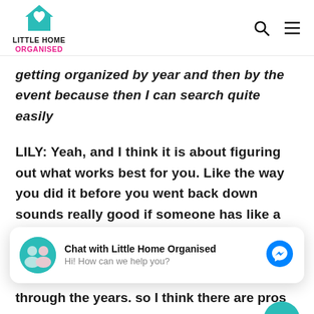[Figure (logo): Little Home Organised logo with teal house icon and pink/black text]
getting organized by year and then by the event because then I can search quite easily
LILY: Yeah, and I think it is about figuring out what works best for you. Like the way you did it before you went back down sounds really good if someone has like a big event coming up a surprise party and y... want to be like oh I am going to look up
Chat with Little Home Organised
Hi! How can we help you?
through the years. so I think there are pros